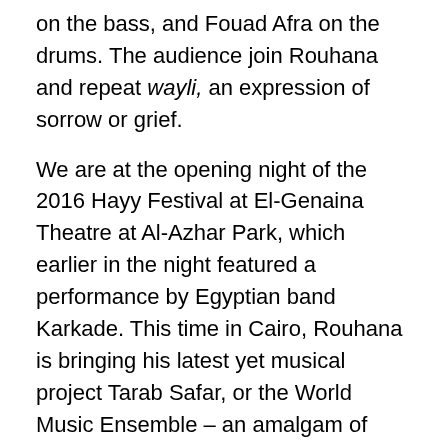on the bass, and Fouad Afra on the drums. The audience join Rouhana and repeat wayli, an expression of sorrow or grief.
We are at the opening night of the 2016 Hayy Festival at El-Genaina Theatre at Al-Azhar Park, which earlier in the night featured a performance by Egyptian band Karkade. This time in Cairo, Rouhana is bringing his latest yet musical project Tarab Safar, or the World Music Ensemble – an amalgam of music compositions as well as songs featuring selections from al-Siqilli's poetry – to the Cairene audience.
Rouhana's extraordinary fusion of sounds unravels throughout the course of the troupe's performance; in the opening song Shashmash (Persian for a Water-spring), and in compositions like Deer Balak, Souvenir from Banff, Promise, amongst others, to the fervent engagement of the audience.
Closing the night, Rouhana revisited one of his early